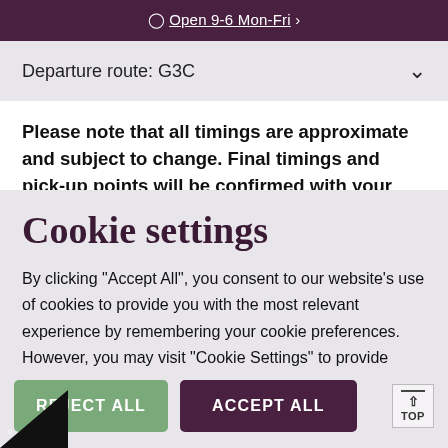Open 9-6 Mon-Fri
Departure route: G3C
Please note that all timings are approximate and subject to change. Final timings and pick-up points will be confirmed with your joining instructions approximately to
Cookie settings
By clicking "Accept All", you consent to our website's use of cookies to provide you with the most relevant experience by remembering your cookie preferences. However, you may visit "Cookie Settings" to provide controlled consent Read our cookie policy.
Cookie settings
REJECT ALL
ACCEPT ALL